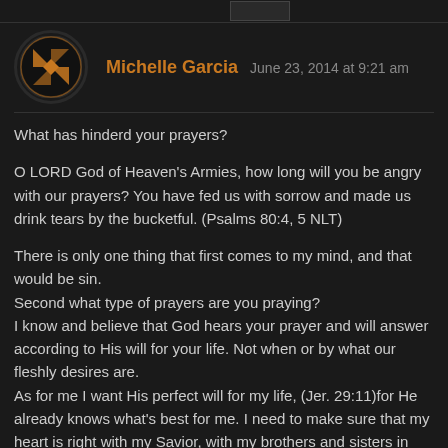[Figure (photo): User avatar thumbnail at top of page, partially visible]
Michelle Garcia   June 23, 2014 at 9:21 am
What has hinderd your prayers?
O LORD God of Heaven's Armies, how long will you be angry with our prayers? You have fed us with sorrow and made us drink tears by the bucketful. (Psalms 80:4, 5 NLT)
There is only one thing that first comes to my mind, and that would be sin.
Second what type of prayers are you praying?
I know and believe that God hears your prayer and will answer according to His will for your life. Not when or by what our fleshly desires are.
As for me I want His perfect will for my life, (Jer. 29:11)for He already knows what's best for me. I need to make sure that my heart is right with my Savior, with my brothers and sisters in Christ, Jesus